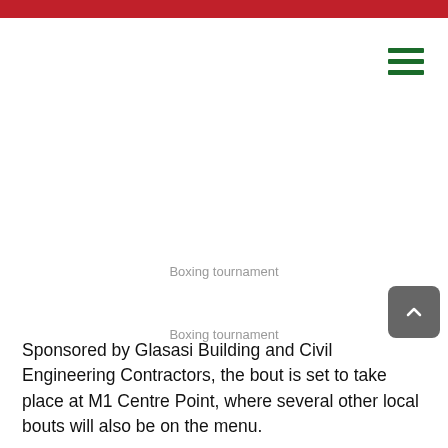[Figure (photo): Boxing tournament image placeholder]
Boxing tournament
Sponsored by Glasasi Building and Civil Engineering Contractors, the bout is set to take place at M1 Centre Point, where several other local bouts will also be on the menu.
In the main support bout, veteran Jobson Adams will